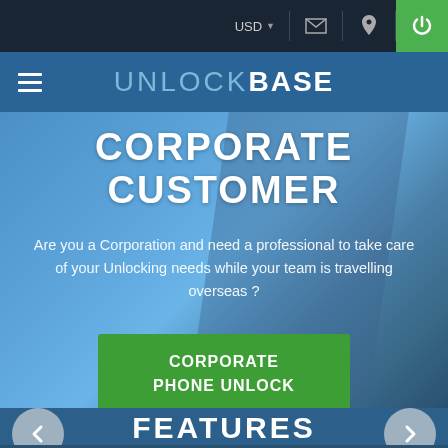USD
UNLOCKBASE
CORPORATE CUSTOMER
Are you a Corporation and need a professional to take care of your Unlocking needs while your team is travelling overseas ?
CORPORATE PHONE UNLOCK
FEATURES